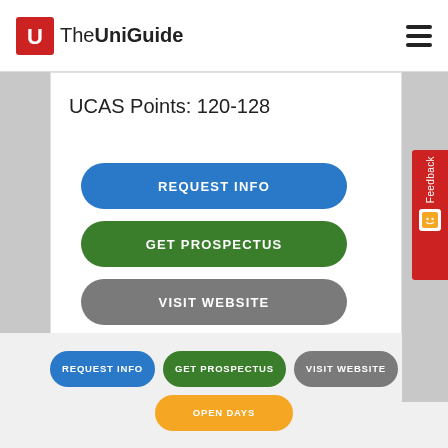TheUniGuide
UCAS Points: 120-128
REQUEST INFO
GET PROSPECTUS
VISIT WEBSITE
OPEN DAYS
REQUEST INFO
GET PROSPECTUS
VISIT WEBSITE
OPEN DAYS